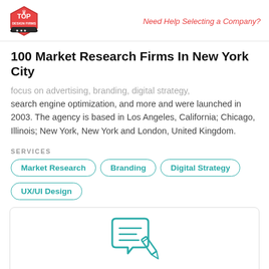Top Design Firms | Need Help Selecting a Company?
100 Market Research Firms In New York City
focus on advertising, branding, digital strategy, search engine optimization, and more and were launched in 2003. The agency is based in Los Angeles, California; Chicago, Illinois; New York, New York and London, United Kingdom.
SERVICES
Market Research
Branding
Digital Strategy
UX/UI Design
[Figure (illustration): Teal outline illustration of a speech bubble with a pencil writing on a document]
Worked with Kelton, a Material Company